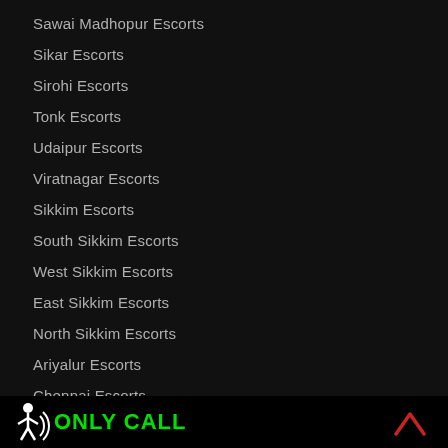Sawai Madhopur Escorts
Sikar Escorts
Sirohi Escorts
Tonk Escorts
Udaipur Escorts
Viratnagar Escorts
Sikkim Escorts
South Sikkim Escorts
West Sikkim Escorts
East Sikkim Escorts
North Sikkim Escorts
Ariyalur Escorts
Chennai Escorts
[Figure (infographic): Bottom bar with stick figure icon and 'ONLY CALL' text in green on black background, with a red chevron/up arrow on the right side.]